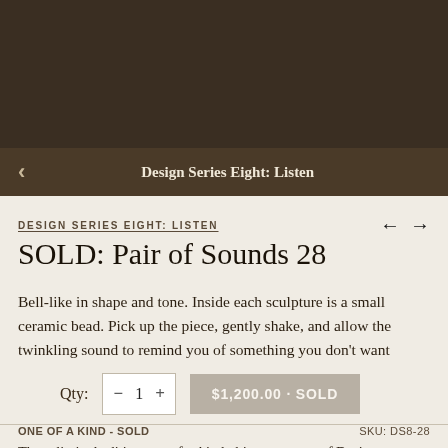[Figure (screenshot): Dark brown top banner background]
Design Series Eight: Listen
DESIGN SERIES EIGHT: LISTEN
SOLD: Pair of Sounds 28
Bell-like in shape and tone. Inside each sculpture is a small ceramic bead. Pick up the piece, gently shake, and allow the twinkling sound to remind you of something you don't want
Qty: 1   $1,200.00 · SOLD
ONE OF A KIND - SOLD   SKU: DS8-28
These limited edition one-of-a-kind objects are part of Design